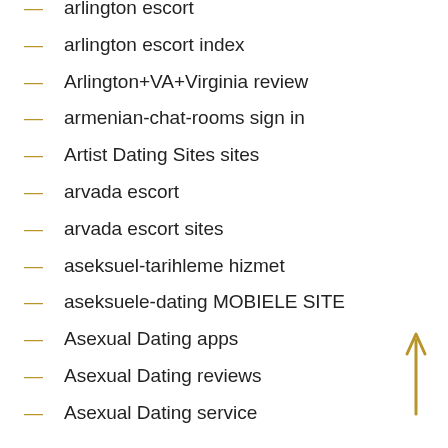arlington escort
arlington escort index
Arlington+VA+Virginia review
armenian-chat-rooms sign in
Artist Dating Sites sites
arvada escort
arvada escort sites
aseksuel-tarihleme hizmet
aseksuele-dating MOBIELE SITE
Asexual Dating apps
Asexual Dating reviews
Asexual Dating service